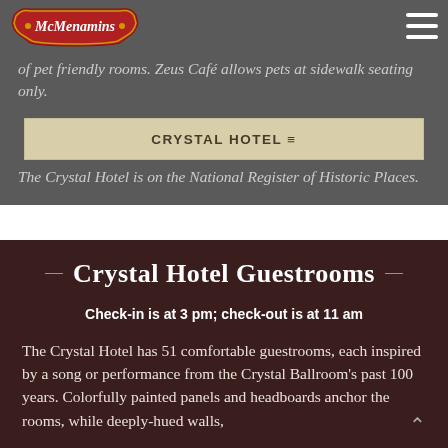McMenamins [logo] | CRYSTAL HOTEL ≡ | ≡ [hamburger menu]
of pet friendly rooms. Zeus Café allows pets at sidewalk seating only.
CRYSTAL HOTEL ≡
The Crystal Hotel is on the National Register of Historic Places.
Crystal Hotel Guestrooms
Check-in is at 3 pm; check-out is at 11 am
The Crystal Hotel has 51 comfortable guestrooms, each inspired by a song or performance from the Crystal Ballroom's past 100 years. Colorfully painted panels and headboards anchor the rooms, while deeply-hued walls,